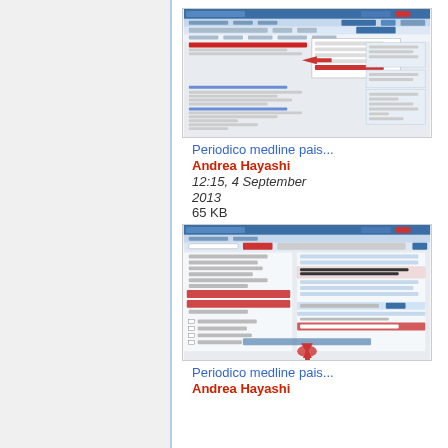[Figure (screenshot): Screenshot of a Medline/PubMed-like database search results page with highlighted item and red arrow pointer]
Periodico medline pais...
Andrea Hayashi
12:15, 4 September 2013
65 KB
[Figure (screenshot): Screenshot of a Medline/PubMed-like database interface showing a form with checkboxes, highlighted selections and a red download arrow]
Periodico medline pais...
Andrea Hayashi